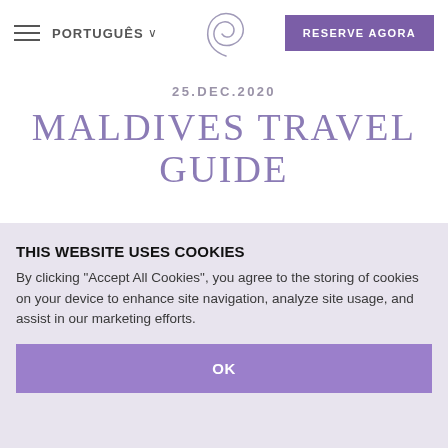PORTUGUÊS ∨  [logo]  RESERVE AGORA
25.DEC.2020
MALDIVES TRAVEL GUIDE
DESTINATION. 07 MAR 2021
THIS WEBSITE USES COOKIES
By clicking "Accept All Cookies", you agree to the storing of cookies on your device to enhance site navigation, analyze site usage, and assist in our marketing efforts.
OK